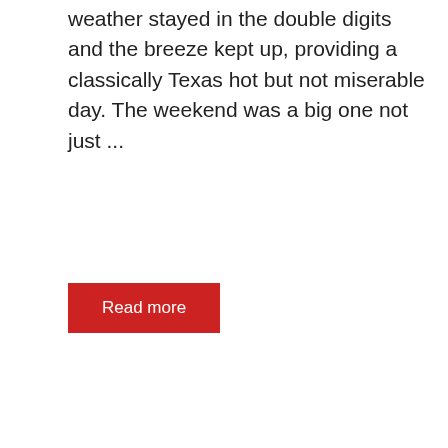weather stayed in the double digits and the breeze kept up, providing a classically Texas hot but not miserable day. The weekend was a big one not just ...
Read more
7s, General News, RRRC 7s, TOLA 7s
[Figure (logo): Texas Rugby logo (red shield with star, '19 71', 'TEXAS RUGBY' text) and Red River Rugby Conference logo (dark blue badge with red 'RUGBY' text, star decorations, and 'CONFERENCE' text)]